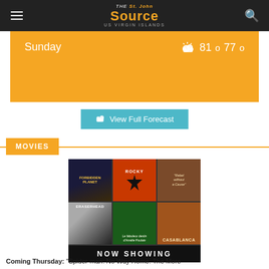The St. John Source US Virgin Islands
[Figure (infographic): Weather widget showing Sunday with temperature 81° 77°]
View Full Forecast
MOVIES
[Figure (photo): Movie poster collage showing Forbidden Planet, Rocky, Rebel Without a Cause, Eraserhead, Amelie, Casablanca with NOW SHOWING banner]
Coming Thursday: "Spider-man: No Way Home: The More